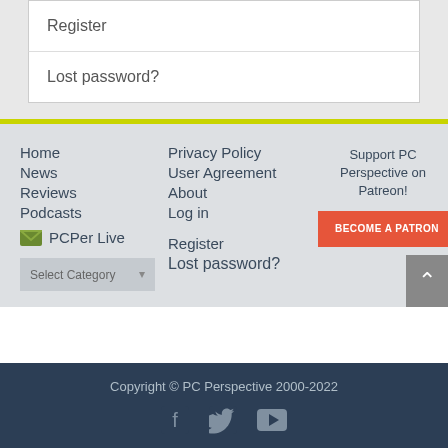Register
Lost password?
Home
News
Reviews
Podcasts
PCPer Live
Privacy Policy
User Agreement
About
Log in
Register
Lost password?
Support PC Perspective on Patreon!
BECOME A PATRON
Copyright © PC Perspective 2000-2022